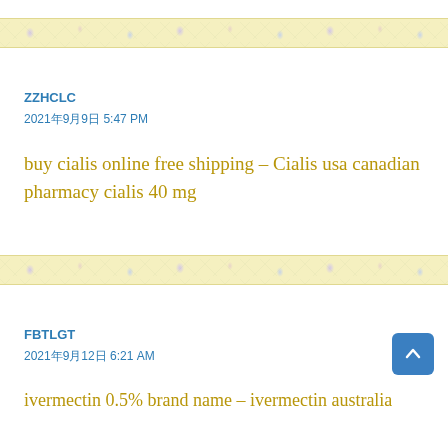ZZHCLC
2021年9月9日 5:47 PM
buy cialis online free shipping – Cialis usa canadian pharmacy cialis 40 mg
FBTLGT
2021年9月12日 6:21 AM
ivermectin 0.5% brand name – ivermectin australia